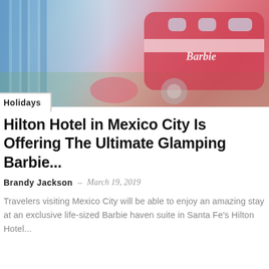[Figure (photo): A Barbie-themed glamping setup with a pink and white Barbie-branded trailer/caravan on the right, and blue curtains or decorations on the left side. Pink and red tones dominate the image.]
Holidays
Hilton Hotel in Mexico City Is Offering The Ultimate Glamping Barbie...
Brandy Jackson – March 19, 2019
Travelers visiting Mexico City will be able to enjoy an amazing stay at an exclusive life-sized Barbie haven suite in Santa Fe's Hilton Hotel...